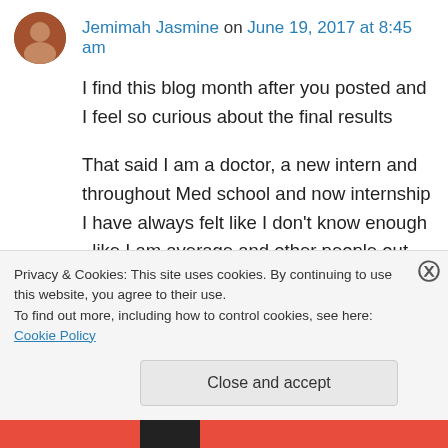[Figure (photo): Avatar photo of Jemimah Jasmine - circular profile image]
Jemimah Jasmine on June 19, 2017 at 8:45 am
I find this blog month after you posted and I feel so curious about the final results
That said I am a doctor, a new intern and throughout Med school and now internship I have always felt like I don't know enough ..like I am average and other people out there are better …like I somehow always pass by fluke and like I need extra training all the time. My
Privacy & Cookies: This site uses cookies. By continuing to use this website, you agree to their use.
To find out more, including how to control cookies, see here: Cookie Policy
Close and accept